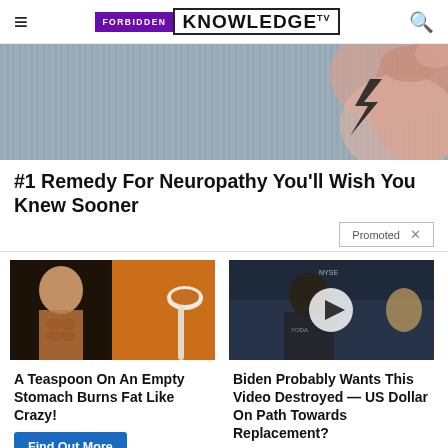FORBIDDEN KNOWLEDGE TV
[Figure (photo): Close-up photo of fingers touching a textured fabric surface with a lightning bolt graphic]
#1 Remedy For Neuropathy You'll Wish You Knew Sooner
Promoted X
[Figure (photo): Left ad image: person with abs and a spoon with spice/powder]
A Teaspoon On An Empty Stomach Burns Fat Like Crazy!
Find Out More
[Figure (screenshot): Right ad image: video thumbnail of man at news desk with play button overlay]
Biden Probably Wants This Video Destroyed — US Dollar On Path Towards Replacement?
Watch The Video